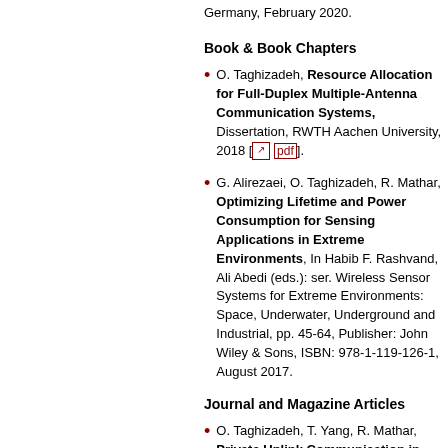Germany, February 2020.
Book & Book Chapters
O. Taghizadeh, Resource Allocation for Full-Duplex Multiple-Antenna Communication Systems, Dissertation, RWTH Aachen University, 2018 [↗ pdf].
G. Alirezaei, O. Taghizadeh, R. Mathar, Optimizing Lifetime and Power Consumption for Sensing Applications in Extreme Environments, In Habib F. Rashvand, Ali Abedi (eds.): ser. Wireless Sensor Systems for Extreme Environments: Space, Underwater, Underground and Industrial, pp. 45-64, Publisher: John Wiley & Sons, ISBN: 978-1-119-126-1, August 2017.
Journal and Magazine Articles
O. Taghizadeh, T. Yang, R. Mathar, Private Uplink Communication in RAN with Untrusted Radios IEEE Trans. Vehicular Technology, 2020